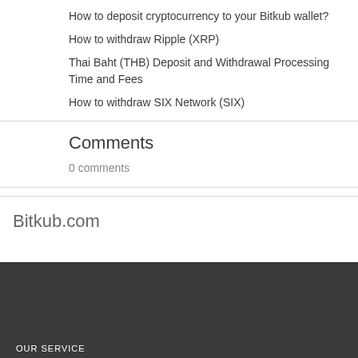How to deposit cryptocurrency to your Bitkub wallet?
How to withdraw Ripple (XRP)
Thai Baht (THB) Deposit and Withdrawal Processing Time and Fees
How to withdraw SIX Network (SIX)
Comments
0 comments
Bitkub.com
OUR SERVICE